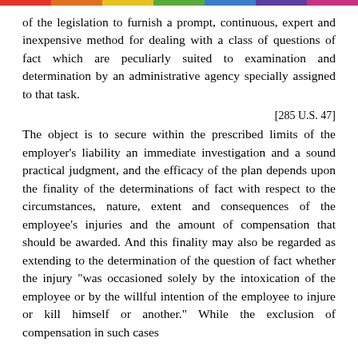of the legislation to furnish a prompt, continuous, expert and inexpensive method for dealing with a class of questions of fact which are peculiarly suited to examination and determination by an administrative agency specially assigned to that task.
[285 U.S. 47]
The object is to secure within the prescribed limits of the employer's liability an immediate investigation and a sound practical judgment, and the efficacy of the plan depends upon the finality of the determinations of fact with respect to the circumstances, nature, extent and consequences of the employee's injuries and the amount of compensation that should be awarded. And this finality may also be regarded as extending to the determination of the question of fact whether the injury "was occasioned solely by the intoxication of the employee or by the willful intention of the employee to injure or kill himself or another." While the exclusion of compensation in such cases